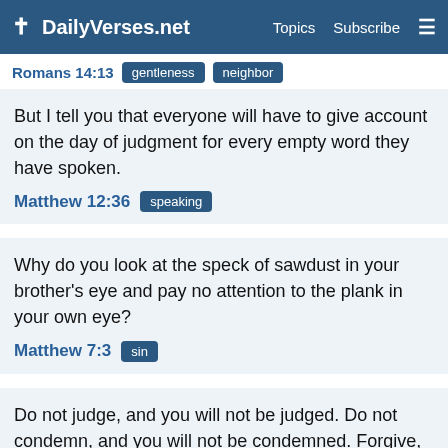✝ DailyVerses.net   Topics   Subscribe   ≡
Romans 14:13  gentleness  neighbor
But I tell you that everyone will have to give account on the day of judgment for every empty word they have spoken.
Matthew 12:36  speaking
Why do you look at the speck of sawdust in your brother's eye and pay no attention to the plank in your own eye?
Matthew 7:3  sin
Do not judge, and you will not be judged. Do not condemn, and you will not be condemned. Forgive, and you will be forgiven.